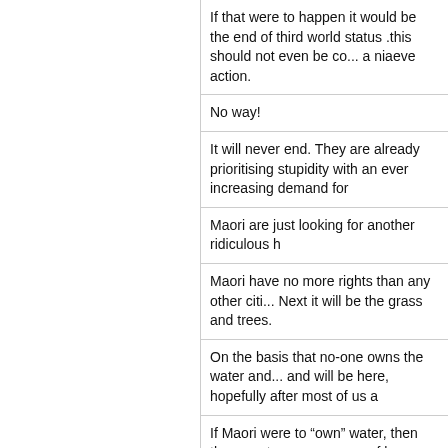If that were to happen it would be the end of third world status .this should not even be co... a niaeve action.
No way!
It will never end. They are already prioritising stupidity with an ever increasing demand for
Maori are just looking for another ridiculous h
Maori have no more rights than any other citi... Next it will be the grass and trees.
On the basis that no-one owns the water and... and will be here, hopefully after most of us a
If Maori were to “own” water, then they must consequences of harm and damage such as
They will want to own all the air we all breath
Nobody has the right to own water.
It’s time level headed new Zealanders stood is a farce designed by powerful iwi to procure ? ALL New Zealanders have the right to wate